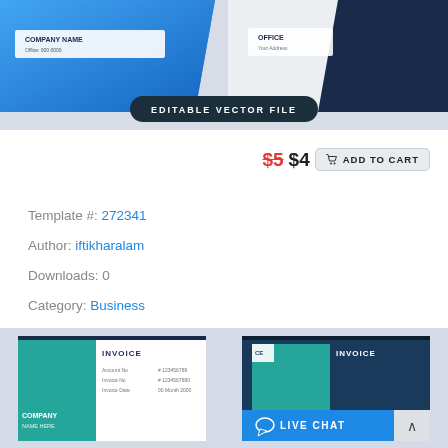[Figure (screenshot): Top banner showing two business card template previews on a light grey background with an 'EDITABLE VECTOR FILE' badge]
$5 $4  ADD TO CART
Template #: 272341
Author: iftikharalam
Downloads: 0
Category: Business
Type: Corporate Identity
View: Live Demo or More Info
Alternate Live Demo: Click Here
[Figure (screenshot): Bottom banner showing two invoice template previews in teal and dark navy colors with a Live Chat overlay button]